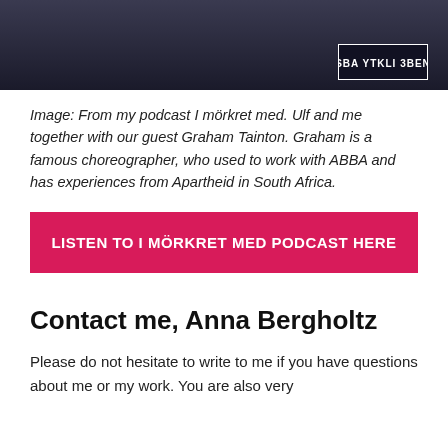[Figure (photo): Photo strip showing people together, partially cropped at top. Dark clothing visible with a badge/sign reading 'SBA YTKLI 3BEN'.]
Image: From my podcast I mörkret med. Ulf and me together with our guest Graham Tainton. Graham is a famous choreographer, who used to work with ABBA and has experiences from Apartheid in South Africa.
LISTEN TO I MÖRKRET MED PODCAST HERE
Contact me, Anna Bergholtz
Please do not hesitate to write to me if you have questions about me or my work. You are also very